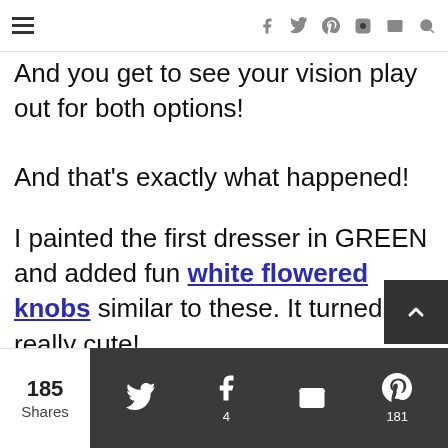[hamburger menu] [social icons: facebook, twitter, pinterest, instagram, email, search]
And you get to see your vision play out for both options!
And that's exactly what happened!
I painted the first dresser in GREEN and added fun white flowered knobs similar to these. It turned out really cute!
185 Shares | [twitter] | [facebook] 4 | [email] | [pinterest] 181